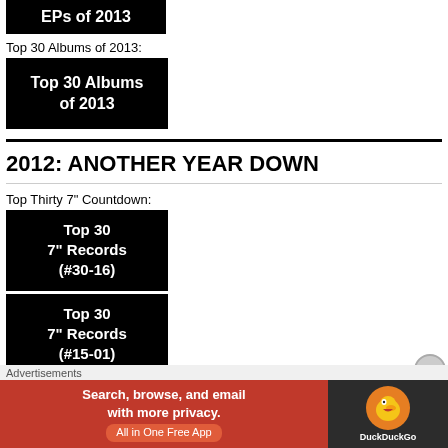[Figure (other): Black banner partially visible at top showing 'EPs of 2013' in white bold text]
Top 30 Albums of 2013:
[Figure (other): Black banner showing 'Top 30 Albums of 2013' in white bold text]
2012: ANOTHER YEAR DOWN
Top Thirty 7" Countdown:
[Figure (other): Black banner showing 'Top 30 7" Records (#30-16)' in white bold text]
[Figure (other): Black banner showing 'Top 30 7" Records (#15-01)' in white bold text]
Top 10 EP's of 2012:
[Figure (other): Advertisement banner: DuckDuckGo - Search, browse, and email with more privacy. All in One Free App]